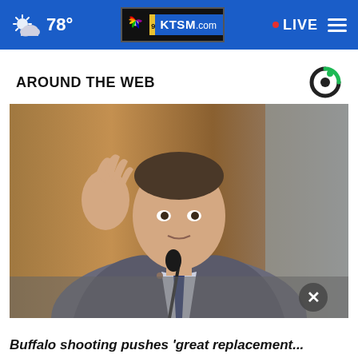78° KTSM.com LIVE
AROUND THE WEB
[Figure (photo): Man in gray suit with blue tie speaking at a hearing, gesturing with right hand raised, microphone in front of him, wooden background]
Buffalo shooting pushes 'great replacement...